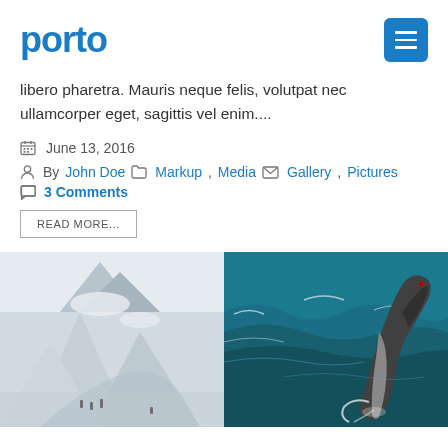porto
libero pharetra. Mauris neque felis, volutpat nec ullamcorper eget, sagittis vel enim....
June 13, 2016
By John Doe   Markup, Media   Gallery, Pictures
3 Comments
READ MORE...
[Figure (photo): Two side-by-side photos: left shows an aerial black-and-white snowy mountain/rock landscape with figures on a path; right shows a dolphin leaping out of blue-green ocean water.]